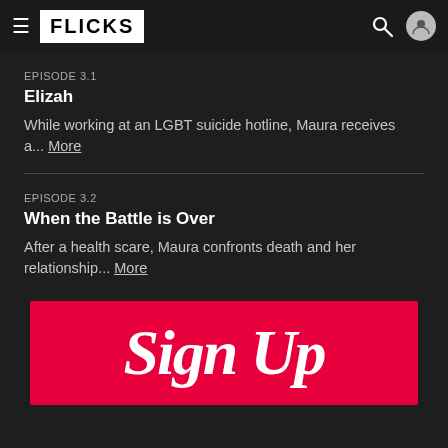FLICKS
EPISODE 3.1
Elizah
While working at an LGBT suicide hotline, Maura receives a... More
EPISODE 3.2
When the Battle is Over
After a health scare, Maura confronts death and her relationship... More
[Figure (other): Red Sign Up banner with cursive white Sign Up text]